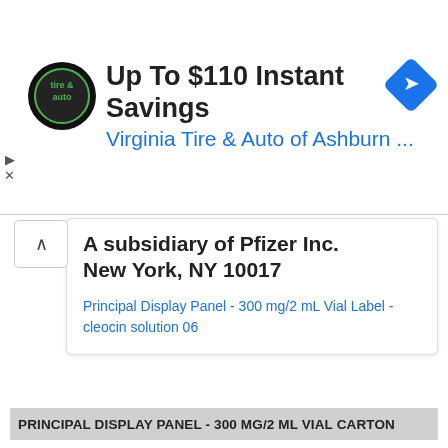[Figure (screenshot): Advertisement banner for Virginia Tire & Auto of Ashburn with logo, text 'Up To $110 Instant Savings', and navigation diamond icon]
A subsidiary of Pfizer Inc.
New York, NY 10017
Principal Display Panel - 300 mg/2 mL Vial Label - cleocin solution 06
PRINCIPAL DISPLAY PANEL - 300 MG/2 ML VIAL CARTON
NDC 0009-0870-26
Contains 25 of NDC 0009-0870-21

25—2 mL Single Dose Vials

Cleocin Phosphate®
_linical administration USP_